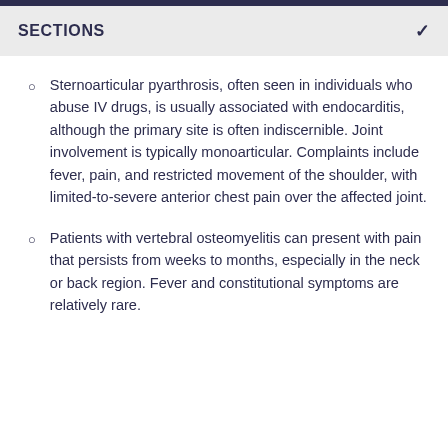SECTIONS
Sternoarticular pyarthrosis, often seen in individuals who abuse IV drugs, is usually associated with endocarditis, although the primary site is often indiscernible. Joint involvement is typically monoarticular. Complaints include fever, pain, and restricted movement of the shoulder, with limited-to-severe anterior chest pain over the affected joint.
Patients with vertebral osteomyelitis can present with pain that persists from weeks to months, especially in the neck or back region. Fever and constitutional symptoms are relatively rare.